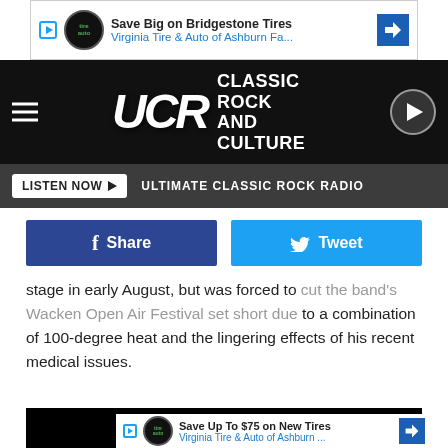[Figure (screenshot): Advertisement banner: Save Big on Bridgestone Tires - Virginia Tire & Auto of Ashburn Fa...]
[Figure (logo): UCR Classic Rock and Culture website header with hamburger menu and play button]
LISTEN NOW ▶   ULTIMATE CLASSIC ROCK RADIO
[Figure (infographic): Facebook Share button and Twitter Tweet button row]
stage in early August, but was forced to cut the band's Wacken Open Air Festival set short due to a combination of 100-degree heat and the lingering effects of his recent medical issues.
[Figure (screenshot): Black video embed area]
[Figure (screenshot): Advertisement banner: Save Up To $75 on New Tires - Virginia Tire & Auto of Ashburn ...]